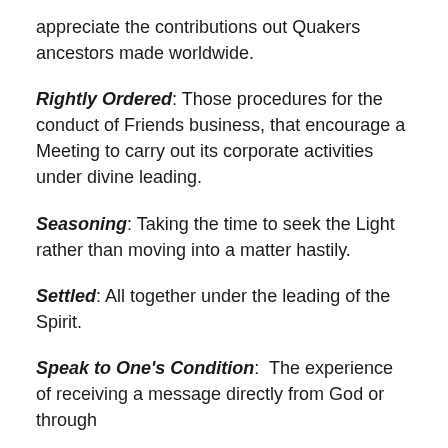appreciate the contributions out Quakers ancestors made worldwide.
Rightly Ordered: Those procedures for the conduct of Friends business, that encourage a Meeting to carry out its corporate activities under divine leading.
Seasoning: Taking the time to seek the Light rather than moving into a matter hastily.
Settled: All together under the leading of the Spirit.
Speak to One's Condition: The experience of receiving a message directly from God or through